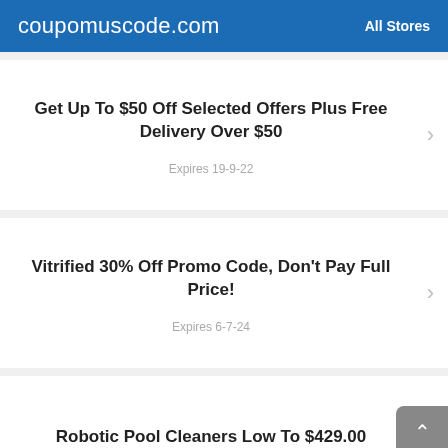coupomuscode.com   All Stores
Get Up To $50 Off Selected Offers Plus Free Delivery Over $50
Expires 19-9-22
Vitrified 30% Off Promo Code, Don't Pay Full Price!
Expires 6-7-24
Robotic Pool Cleaners Low To $429.00
Expires 27-8-22